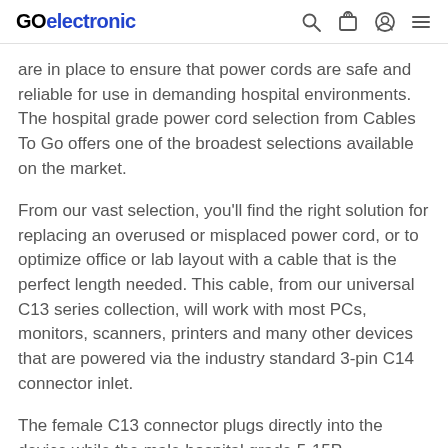GOelectronic
are in place to ensure that power cords are safe and reliable for use in demanding hospital environments. The hospital grade power cord selection from Cables To Go offers one of the broadest selections available on the market.
From our vast selection, you'll find the right solution for replacing an overused or misplaced power cord, or to optimize office or lab layout with a cable that is the perfect length needed. This cable, from our universal C13 series collection, will work with most PCs, monitors, scanners, printers and many other devices that are powered via the industry standard 3-pin C14 connector inlet.
The female C13 connector plugs directly into the device while the male hospital grade 5-15P